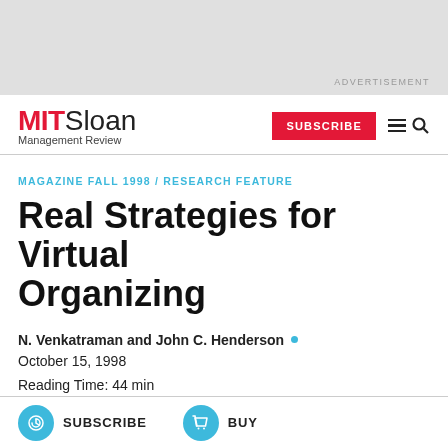[Figure (other): Gray advertisement banner at the top of the page with 'ADVERTISEMENT' label]
MIT Sloan Management Review | SUBSCRIBE | menu
MAGAZINE FALL 1998 / RESEARCH FEATURE
Real Strategies for Virtual Organizing
N. Venkatraman and John C. Henderson
October 15, 1998
Reading Time: 44 min
SUBSCRIBE | BUY